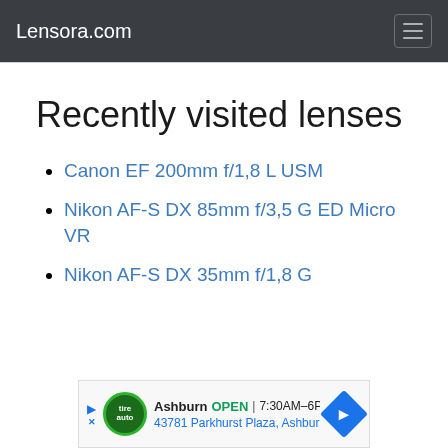Lensora.com
Recently visited lenses
Canon EF 200mm f/1,8 L USM
Nikon AF-S DX 85mm f/3,5 G ED Micro VR
Nikon AF-S DX 35mm f/1,8 G
[Figure (screenshot): Advertisement banner for a local auto service in Ashburn showing OPEN 7:30AM-6PM and address 43781 Parkhurst Plaza, Ashburn]